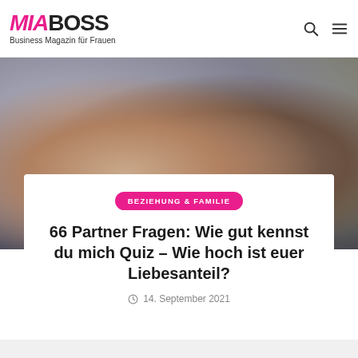MIABOSS – Business Magazin für Frauen
[Figure (photo): A couple — a woman with long blonde hair and a man with dark beard and green shirt — sitting closely and looking at each other, blurred indoor background]
BEZIEHUNG & FAMILIE
66 Partner Fragen: Wie gut kennst du mich Quiz – Wie hoch ist euer Liebesanteil?
14. September 2021